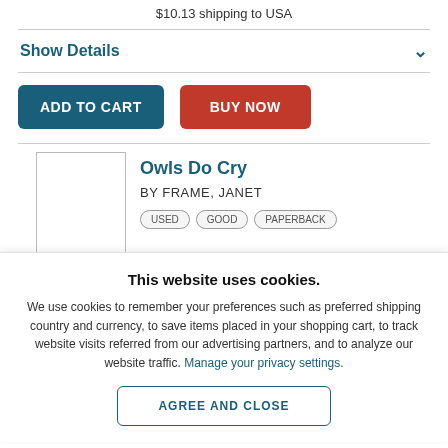$10.13 shipping to USA
Show Details
ADD TO CART
BUY NOW
Owls Do Cry
BY FRAME, JANET
This website uses cookies.
We use cookies to remember your preferences such as preferred shipping country and currency, to save items placed in your shopping cart, to track website visits referred from our advertising partners, and to analyze our website traffic. Manage your privacy settings.
AGREE AND CLOSE